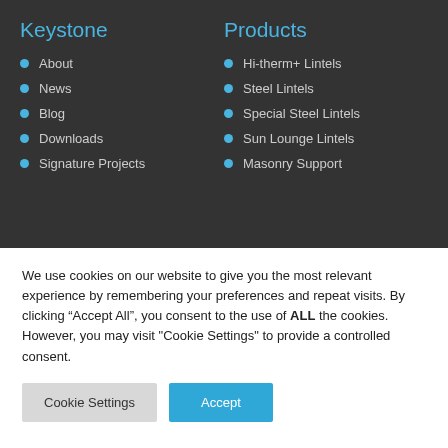Keystone
Products
About
News
Blog
Downloads
Signature Projects
Hi-therm+ Lintels
Steel Lintels
Special Steel Lintels
Sun Lounge Lintels
Masonry Support
We use cookies on our website to give you the most relevant experience by remembering your preferences and repeat visits. By clicking “Accept All”, you consent to the use of ALL the cookies. However, you may visit "Cookie Settings" to provide a controlled consent.
Cookie Settings | Accept